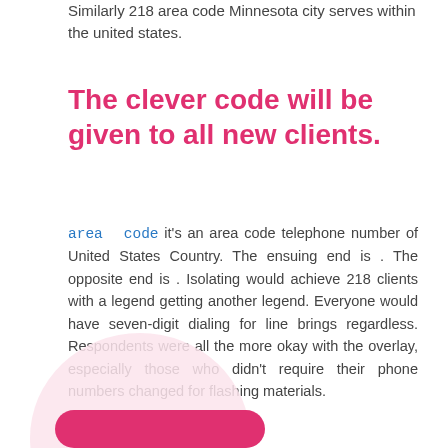Similarly 218 area code Minnesota city serves within the united states.
The clever code will be given to all new clients.
area code it's an area code telephone number of United States Country. The ensuing end is . The opposite end is . Isolating would achieve 218 clients with a legend getting another legend. Everyone would have seven-digit dialing for line brings regardless. Respondents were all the more okay with the overlay, especially those who didn't require their phone numbers changed for flashing materials.
[Figure (illustration): Pink decorative circle and pink rounded button at bottom of page]